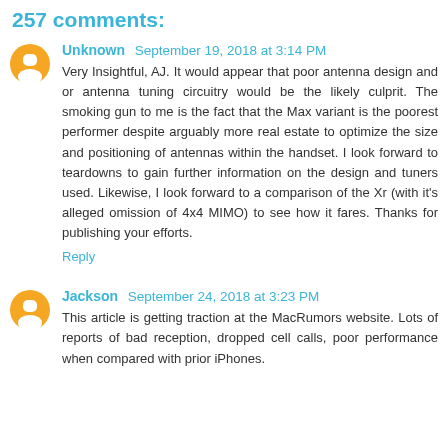257 comments:
Unknown September 19, 2018 at 3:14 PM
Very Insightful, AJ. It would appear that poor antenna design and or antenna tuning circuitry would be the likely culprit. The smoking gun to me is the fact that the Max variant is the poorest performer despite arguably more real estate to optimize the size and positioning of antennas within the handset. I look forward to teardowns to gain further information on the design and tuners used. Likewise, I look forward to a comparison of the Xr (with it's alleged omission of 4x4 MIMO) to see how it fares. Thanks for publishing your efforts.
Reply
Jackson September 24, 2018 at 3:23 PM
This article is getting traction at the MacRumors website. Lots of reports of bad reception, dropped cell calls, poor performance when compared with prior iPhones.